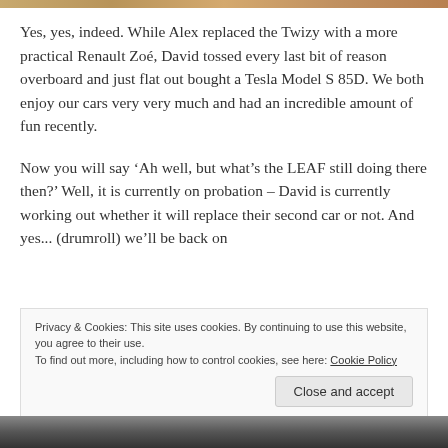[Figure (photo): Top image bar strip in brown/tan tones]
Yes, yes, indeed. While Alex replaced the Twizy with a more practical Renault Zoé, David tossed every last bit of reason overboard and just flat out bought a Tesla Model S 85D. We both enjoy our cars very very much and had an incredible amount of fun recently.
Now you will say ‘Ah well, but what’s the LEAF still doing there then?’ Well, it is currently on probation – David is currently working out whether it will replace their second car or not. And yes... (drumroll) we’ll be back on
Privacy & Cookies: This site uses cookies. By continuing to use this website, you agree to their use.
To find out more, including how to control cookies, see here: Cookie Policy
Close and accept
[Figure (photo): Bottom image strip showing partial figures]